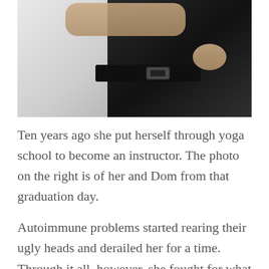[Figure (photo): A close-up photo of two people standing together. One person is wearing a white shirt and the other is wearing a black shirt with a black belt and buckle. Their arms are intertwined/embracing.]
Ten years ago she put herself through yoga school to become an instructor. The photo on the right is of her and Dom from that graduation day.

Autoimmune problems started rearing their ugly heads and derailed her for a time. Through it all, however, she fought for what